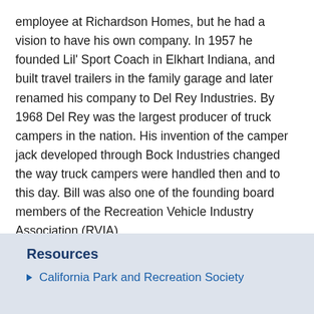employee at Richardson Homes, but he had a vision to have his own company. In 1957 he founded Lil' Sport Coach in Elkhart Indiana, and built travel trailers in the family garage and later renamed his company to Del Rey Industries. By 1968 Del Rey was the largest producer of truck campers in the nation. His invention of the camper jack developed through Bock Industries changed the way truck campers were handled then and to this day. Bill was also one of the founding board members of the Recreation Vehicle Industry Association (RVIA).
The Class of 2016 will be officially inducted into the RV/MH Hall of Fame at the Annual Induction Dinner on Monday, August 1, in Elkhart.
Resources
California Park and Recreation Society